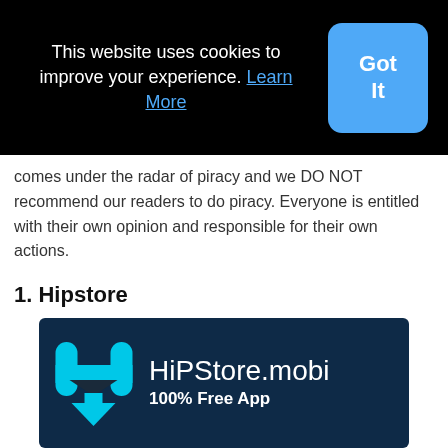This website uses cookies to improve your experience. Learn More
Got It
comes under the radar of piracy and we DO NOT recommend our readers to do piracy. Everyone is entitled with their own opinion and responsible for their own actions.
1. Hipstore
[Figure (logo): HiPStore.mobi logo on dark blue background with cyan H arrow icon and text '100% Free App']